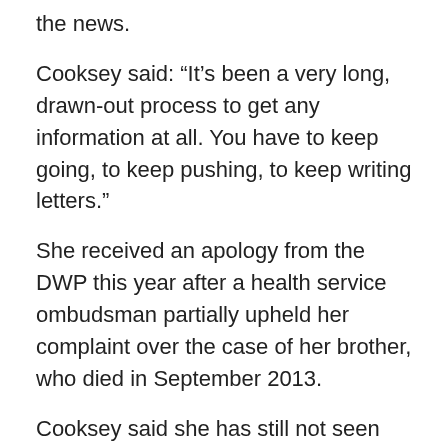the news.
Cooksey said: “It’s been a very long, drawn-out process to get any information at all. You have to keep going, to keep pushing, to keep writing letters.”
She received an apology from the DWP this year after a health service ombudsman partially upheld her complaint over the case of her brother, who died in September 2013.
Cooksey said she has still not seen her brother’s peer review, but believes all 49 secret investigations should be published, so that lessons could be learned and other families helped to come to terms with what had happened.
“It could help other families and stop it